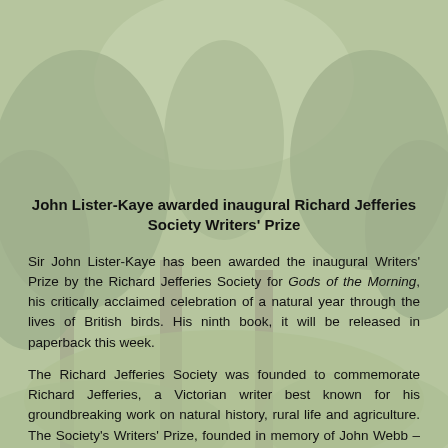[Figure (photo): Outdoor forest/woodland scene with green trees, foliage, and a path, overlaid with a light grey-green tint]
John Lister-Kaye awarded inaugural Richard Jefferies Society Writers' Prize
Sir John Lister-Kaye has been awarded the inaugural Writers' Prize by the Richard Jefferies Society for Gods of the Morning, his critically acclaimed celebration of a natural year through the lives of British birds. His ninth book, it will be released in paperback this week.
The Richard Jefferies Society was founded to commemorate Richard Jefferies, a Victorian writer best known for his groundbreaking work on natural history, rural life and agriculture. The Society's Writers' Prize, founded in memory of John Webb – lifelong lover of Jefferies' writing, commenced in 2015, with the prize of £500 awarded for any length or format of writing on